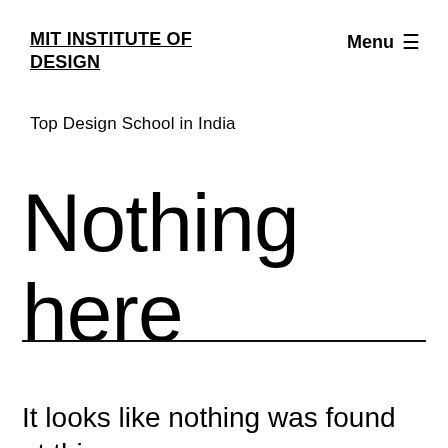MIT INSTITUTE OF DESIGN
Top Design School in India
Menu ☰
Nothing here
It looks like nothing was found at this